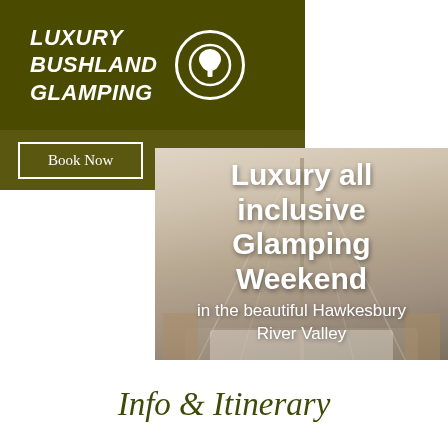LUXURY BUSHLAND GLAMPING
[Figure (screenshot): Website screenshot of Luxury Bushland Glamping showing header with logo, navigation bar with Book Now button and hamburger menu, hero image of glamping tent interior with overlay text 'Luxury all inclusive Glamping Weekend in the beautiful Hawkesbury River Valley only 1.5 hours from Sydney.' and a Book Now button]
Info & Itinerary